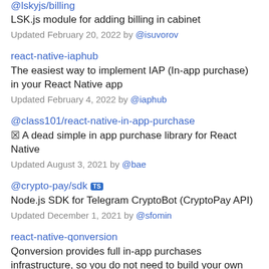@lskyjs/billing
LSK.js module for adding billing in cabinet
Updated February 20, 2022 by @isuvorov
react-native-iaphub
The easiest way to implement IAP (In-app purchase) in your React Native app
Updated February 4, 2022 by @iaphub
@class101/react-native-in-app-purchase
☒ A dead simple in app purchase library for React Native
Updated August 3, 2021 by @bae
@crypto-pay/sdk TS
Node.js SDK for Telegram CryptoBot (CryptoPay API)
Updated December 1, 2021 by @sfomin
react-native-qonversion
Qonversion provides full in-app purchases infrastructure, so you do not need to build your own server for receipt validation. Implement in-app